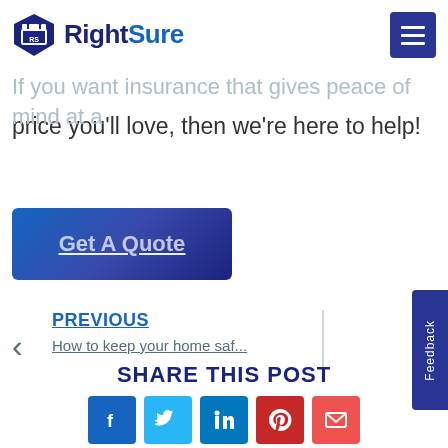RightSure
with structural support.
If you want insurance that gives peace of mind at a price you'll love, then we're here to help!
Get A Quote
PREVIOUS
How to keep your home saf...
SHARE THIS POST
[Figure (infographic): Social share buttons: Facebook, Twitter, LinkedIn, Pinterest, Email]